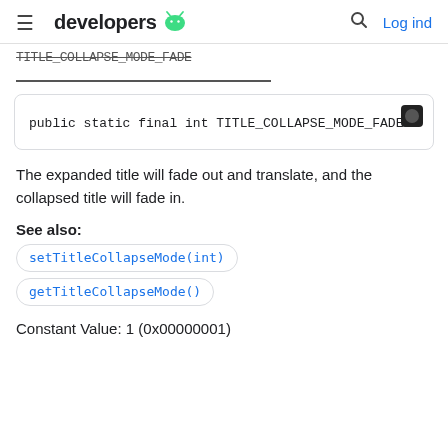developers [android logo] Log ind
TITLE_COLLAPSE_MODE_FADE (cutoff/partial text above)
public static final int TITLE_COLLAPSE_MODE_FADE
The expanded title will fade out and translate, and the collapsed title will fade in.
See also:
setTitleCollapseMode(int)
getTitleCollapseMode()
Constant Value: 1 (0x00000001)